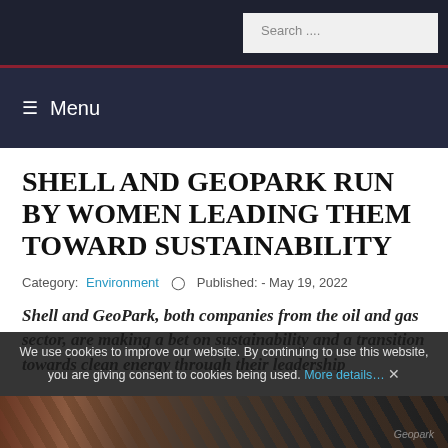Search ....
☰ Menu
SHELL AND GEOPARK RUN BY WOMEN LEADING THEM TOWARD SUSTAINABILITY
Category: Environment ⊙  Published: - May 19, 2022
Shell and GeoPark, both companies from the oil and gas sector, are making a bet on sustainability and a transition towards clean energy through their leadership
We use cookies to improve our website. By continuing to use this website, you are giving consent to cookies being used. More details… ✕